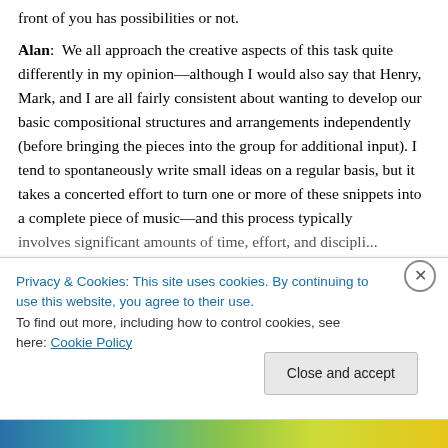front of you has possibilities or not.
Alan:  We all approach the creative aspects of this task quite differently in my opinion—although I would also say that Henry, Mark, and I are all fairly consistent about wanting to develop our basic compositional structures and arrangements independently (before bringing the pieces into the group for additional input). I tend to spontaneously write small ideas on a regular basis, but it takes a concerted effort to turn one or more of these snippets into a complete piece of music—and this process typically involves significant amounts of time, effort, and discipline...
Privacy & Cookies: This site uses cookies. By continuing to use this website, you agree to their use.
To find out more, including how to control cookies, see here: Cookie Policy